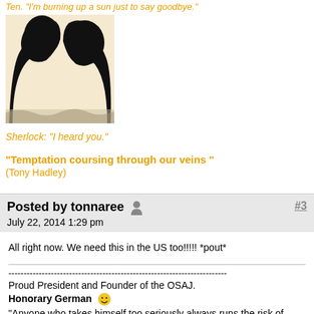Ten. "I'm burning up a sun just to say goodbye."
[Figure (illustration): Black and white silhouette image of two people facing each other in profile, against a beige/white background]
Sherlock: "I heard you."
"Temptation coursing through our veins " (Tony Hadley)
Posted by tonnaree   July 22, 2014 1:29 pm   #3
All right now.  We need this in the US too!!!!!  *pout*
------------------------------------------------------------------------
Proud President and Founder of the OSAJ.
Honorary German
"Anyone who takes himself too seriously always runs the risk of looking